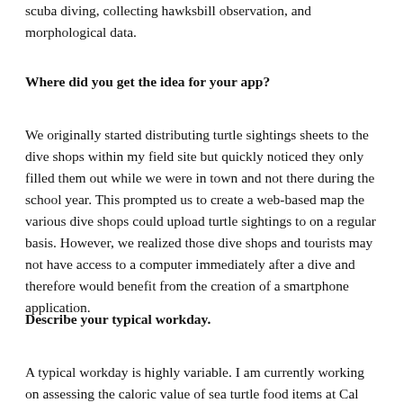scuba diving, collecting hawksbill observation, and morphological data.
Where did you get the idea for your app?
We originally started distributing turtle sightings sheets to the dive shops within my field site but quickly noticed they only filled them out while we were in town and not there during the school year. This prompted us to create a web-based map the various dive shops could upload turtle sightings to on a regular basis. However, we realized those dive shops and tourists may not have access to a computer immediately after a dive and therefore would benefit from the creation of a smartphone application.
Describe your typical workday.
A typical workday is highly variable. I am currently working on assessing the caloric value of sea turtle food items at Cal